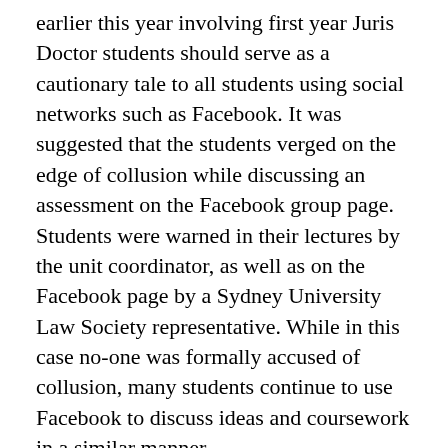earlier this year involving first year Juris Doctor students should serve as a cautionary tale to all students using social networks such as Facebook. It was suggested that the students verged on the edge of collusion while discussing an assessment on the Facebook group page. Students were warned in their lectures by the unit coordinator, as well as on the Facebook page by a Sydney University Law Society representative. While in this case no-one was formally accused of collusion, many students continue to use Facebook to discuss ideas and coursework in a similar manner.
For better or worse, university lecturers and students are taking advantage of social media platforms. The benefits are clear – immediacy and persistence – but as with all things in life, it's a case